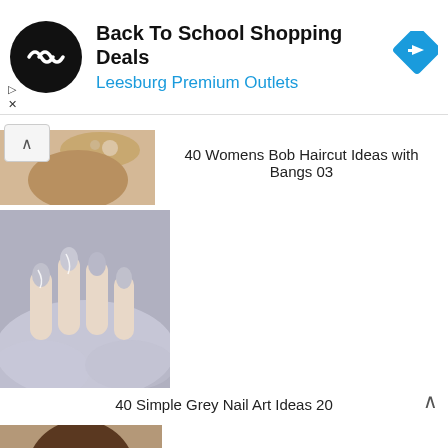[Figure (other): Advertisement banner: Back To School Shopping Deals at Leesburg Premium Outlets with circular logo and blue navigation icon]
40 Womens Bob Haircut Ideas with Bangs 03
[Figure (photo): Grey nail art photo showing hands with grey and white marble-patterned oval nails on a fluffy white background]
40 Simple Grey Nail Art Ideas 20
[Figure (photo): Photo of a woman with a brown bob haircut with bangs]